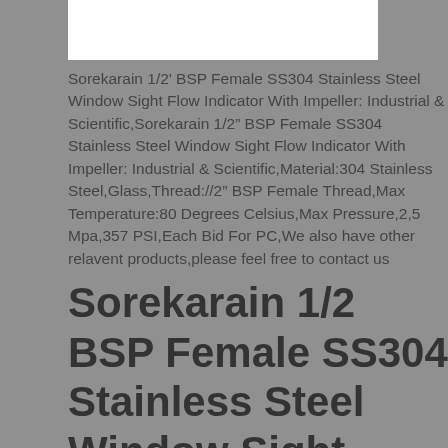[Figure (photo): White rectangle/image placeholder at the top of the page]
Sorekarain 1/2' BSP Female SS304 Stainless Steel Window Sight Flow Indicator With Impeller: Industrial & Scientific,Sorekarain 1/2" BSP Female SS304 Stainless Steel Window Sight Flow Indicator With Impeller: Industrial & Scientific,Material:304 Stainless Steel,Glass,Thread://2" BSP Female Thread,Max Temperature:80 Degrees Celsius,Max Pressure,2,5 Mpa,357 PSI,Each Bid For PC,We also have other relavent products,please feel free to contact us
Sorekarain 1/2 BSP Female SS304 Stainless Steel Window Sight Flow Indicator With Impeller